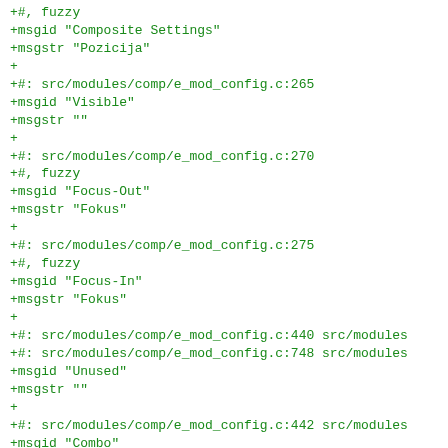+#, fuzzy
+msgid "Composite Settings"
+msgstr "Pozicija"
+
+#: src/modules/comp/e_mod_config.c:265
+msgid "Visible"
+msgstr ""
+
+#: src/modules/comp/e_mod_config.c:270
+#, fuzzy
+msgid "Focus-Out"
+msgstr "Fokus"
+
+#: src/modules/comp/e_mod_config.c:275
+#, fuzzy
+msgid "Focus-In"
+msgstr "Fokus"
+
+#: src/modules/comp/e_mod_config.c:440 src/modules
+#: src/modules/comp/e_mod_config.c:748 src/modules
+msgid "Unused"
+msgstr ""
+
+#: src/modules/comp/e_mod_config.c:442 src/modules
+msgid "Combo"
+msgstr ""
+
+#: src/modules/comp/e_mod_config.c:446 src/modules
+#: src/modules/comp/e_mod_config.c:822
+#, fuzzy
+msgid "Dialog"